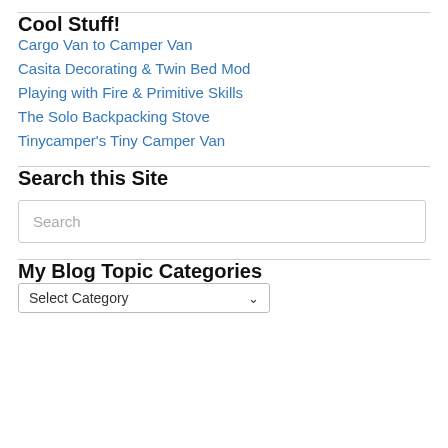Cool Stuff!
Cargo Van to Camper Van
Casita Decorating & Twin Bed Mod
Playing with Fire & Primitive Skills
The Solo Backpacking Stove
Tinycamper's Tiny Camper Van
Search this Site
Search
My Blog Topic Categories
Select Category